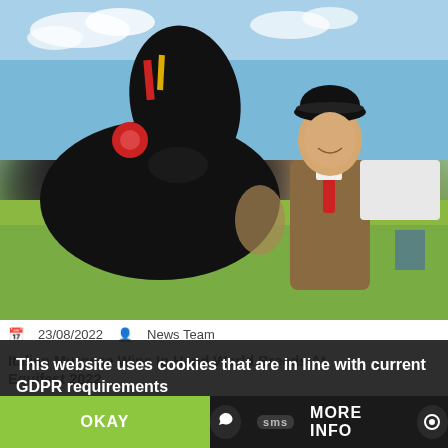[Figure (photo): A young woman in equestrian attire (black riding hat, brown tweed jacket, red tie) standing next to a black horse decorated with a red rosette ribbon at an outdoor show ground.]
📅 23/08/2022   👤 News Team
Italian Murgese Wins In Hand World Breeds At Equifest 2022
This website uses cookies that are in line with current GDPR requirements
OKAY
MORE INFO